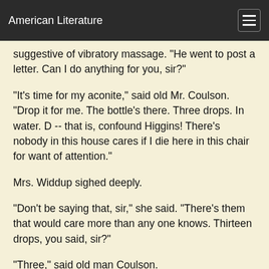American Literature
suggestive of vibratory massage. "He went to post a letter. Can I do anything for you, sir?"
"It's time for my aconite," said old Mr. Coulson. "Drop it for me. The bottle's there. Three drops. In water. D -- that is, confound Higgins! There's nobody in this house cares if I die here in this chair for want of attention."
Mrs. Widdup sighed deeply.
"Don't be saying that, sir," she said. "There's them that would care more than any one knows. Thirteen drops, you said, sir?"
"Three," said old man Coulson.